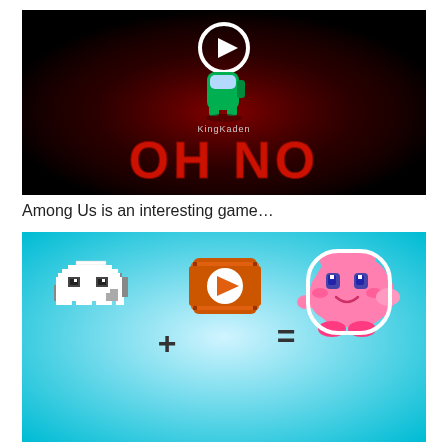[Figure (screenshot): YouTube video thumbnail showing an Among Us character (green) in a dark red-lit scene with the text 'KingKaden' and 'OH NO' in large red pixelated letters, with a white play button circle overlay.]
Among Us is an interesting game…
[Figure (illustration): Pixel art equation on a cyan/light blue gradient background: a white pixel ghost/Boo character + an orange pixel YouTube play button icon = a pink pixel Kirby character.]